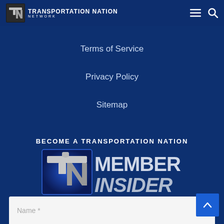[Figure (logo): Transportation Nation Network logo with TN emblem and text]
Terms of Service
Privacy Policy
Sitemap
[Figure (illustration): BECOME A TRANSPORTATION NATION MEMBER INSIDER banner with TN logo graphic]
Name *